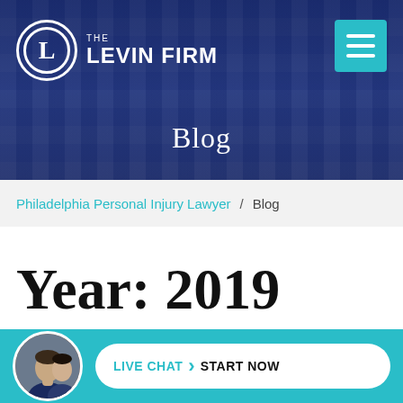[Figure (logo): The Levin Firm logo — circular emblem with L, text THE LEVIN FIRM in white on dark blue city-skyline background]
Blog
Philadelphia Personal Injury Lawyer  /  Blog
Year: 2019
LIVE CHAT  START NOW